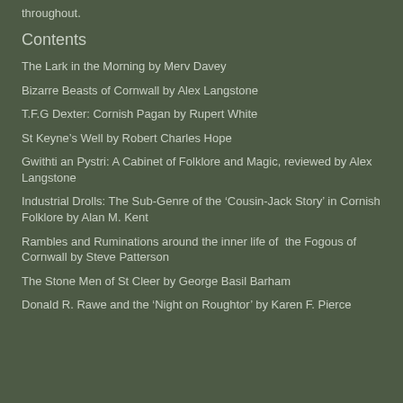throughout.
Contents
The Lark in the Morning by Merv Davey
Bizarre Beasts of Cornwall by Alex Langstone
T.F.G Dexter: Cornish Pagan by Rupert White
St Keyne's Well by Robert Charles Hope
Gwithti an Pystri: A Cabinet of Folklore and Magic, reviewed by Alex Langstone
Industrial Drolls: The Sub-Genre of the ‘Cousin-Jack Story’ in Cornish Folklore by Alan M. Kent
Rambles and Ruminations around the inner life of the Fogous of Cornwall by Steve Patterson
The Stone Men of St Cleer by George Basil Barham
Donald R. Rawe and the ‘Night on Roughtor’ by Karen F. Pierce